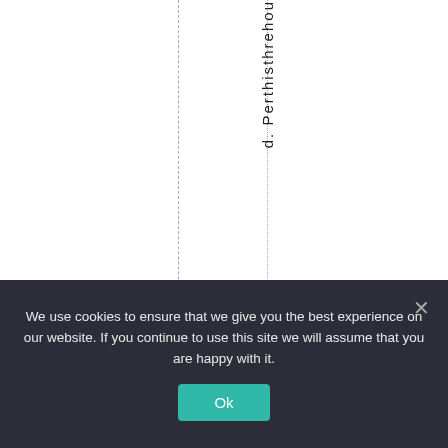d. Perthisthrehou
We use cookies to ensure that we give you the best experience on our website. If you continue to use this site we will assume that you are happy with it.